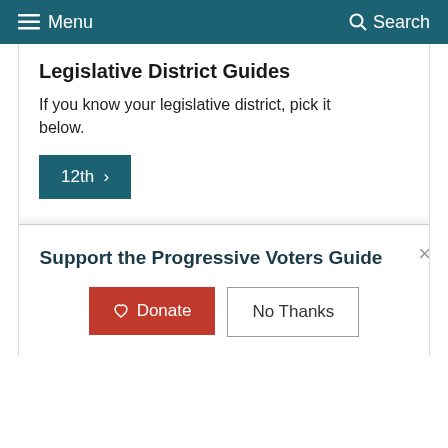Menu   Search
Legislative District Guides
If you know your legislative district, pick it below.
12th >
City Guides
If you know your city, pick your local guide below.
Wenatchee >
Support the Progressive Voters Guide
♡ Donate
No Thanks